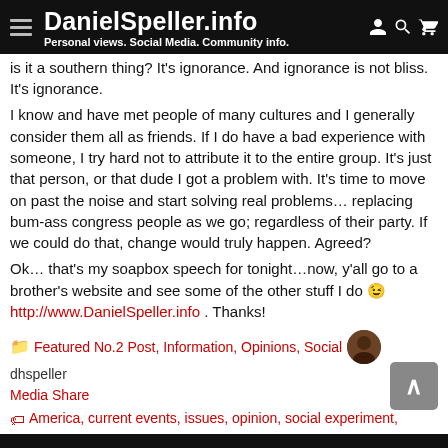DanielSpeller.info — Personal views. Social Media. Community info.
is it a southern thing? It's ignorance. And ignorance is not bliss. It's ignorance.
I know and have met people of many cultures and I generally consider them all as friends.  If I do have a bad experience with someone, I try hard not to attribute it to the entire group.  It's just that person, or that dude I got a problem with.  It's time to move on past the noise and start solving real problems… replacing bum-ass congress people as we go; regardless of their party.  If we could do that, change would truly happen.  Agreed?
Ok… that's my soapbox speech for tonight…now, y'all go to a brother's website and see some of the other stuff I do 😉 http://www.DanielSpeller.info .  Thanks!
📁 Featured No.2 Post, Information, Opinions, Social Media Share   dhspeller
🏷 America, current events, issues, opinion, social experiment, statues